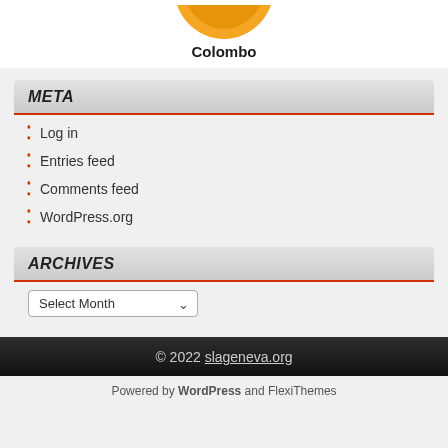[Figure (logo): Partial orange circular logo/emblem at top, cropped]
Colombo
META
Log in
Entries feed
Comments feed
WordPress.org
ARCHIVES
Select Month
© 2022 slageneva.org
Powered by WordPress and FlexiThemes